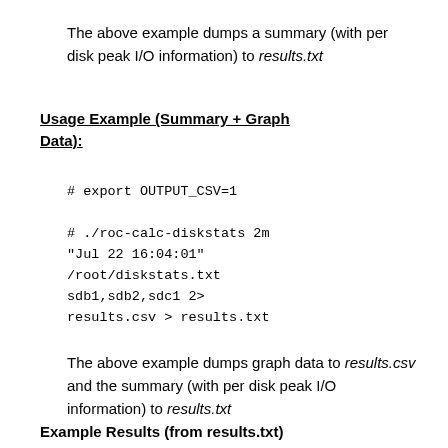The above example dumps a summary (with per disk peak I/O information) to results.txt
Usage Example (Summary + Graph Data):
# export OUTPUT_CSV=1
# ./roc-calc-diskstats 2m "Jul 22 16:04:01" /root/diskstats.txt sdb1,sdb2,sdc1 2> results.csv > results.txt
The above example dumps graph data to results.csv and the summary (with per disk peak I/O information) to results.txt
Example Results (from results.txt)